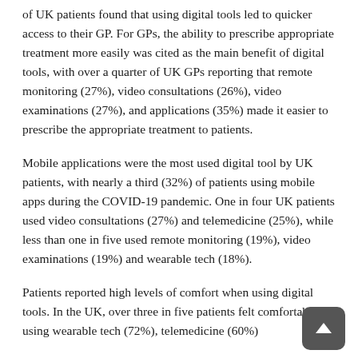of UK patients found that using digital tools led to quicker access to their GP. For GPs, the ability to prescribe appropriate treatment more easily was cited as the main benefit of digital tools, with over a quarter of UK GPs reporting that remote monitoring (27%), video consultations (26%), video examinations (27%), and applications (35%) made it easier to prescribe the appropriate treatment to patients.
Mobile applications were the most used digital tool by UK patients, with nearly a third (32%) of patients using mobile apps during the COVID-19 pandemic. One in four UK patients used video consultations (27%) and telemedicine (25%), while less than one in five used remote monitoring (19%), video examinations (19%) and wearable tech (18%).
Patients reported high levels of comfort when using digital tools. In the UK, over three in five patients felt comfortable using wearable tech (72%), telemedicine (60%)